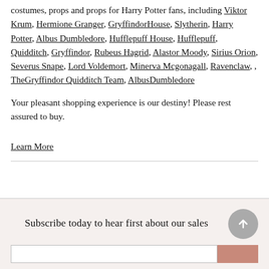costumes, props and props for Harry Potter fans, including Viktor Krum, Hermione Granger, GryffindorHouse, Slytherin, Harry Potter, Albus Dumbledore, Hufflepuff House, Hufflepuff, Quidditch, Gryffindor, Rubeus Hagrid, Alastor Moody, Sirius Orion, Severus Snape, Lord Voldemort, Minerva Mcgonagall, Ravenclaw, , TheGryffindor Quidditch Team, AlbusDumbledore
Your pleasant shopping experience is our destiny! Please rest assured to buy.
Learn More
Subscribe today to hear first about our sales